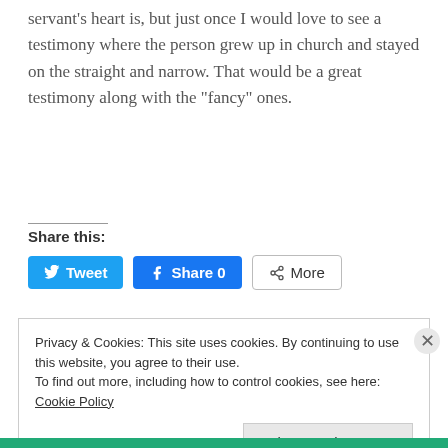servant's heart is, but just once I would love to see a testimony where the person grew up in church and stayed on the straight and narrow. That would be a great testimony along with the “fancy” ones.
Share this:
[Figure (screenshot): Social share buttons: Tweet (Twitter/blue), Share 0 (Facebook/blue), More (grey outline)]
Privacy & Cookies: This site uses cookies. By continuing to use this website, you agree to their use.
To find out more, including how to control cookies, see here: Cookie Policy
Close and accept